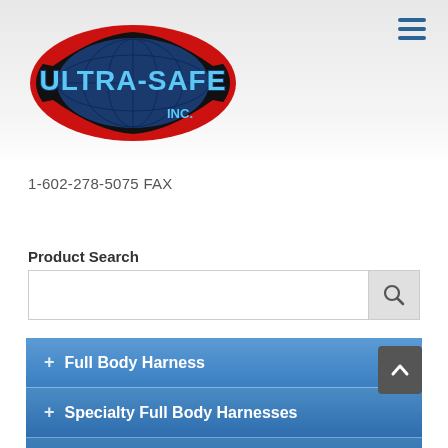[Figure (logo): Ultra-Safe Inc. logo with globe and bold blue lettering on a red oval background]
1-602-278-5075 FAX
Product Search
+ Full Body Harness
+ Specialty Full Body Harnesses
+ Harness Upgrades